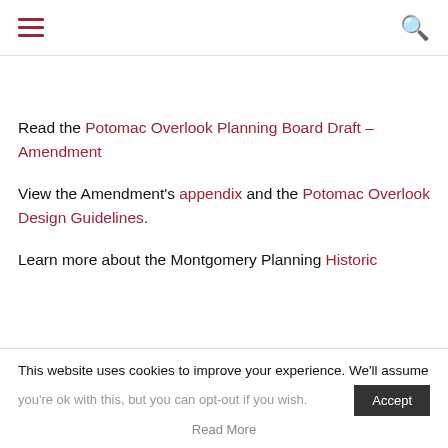[hamburger menu icon] [search icon]
Read the Potomac Overlook Planning Board Draft – Amendment
View the Amendment's appendix and the Potomac Overlook Design Guidelines.
Learn more about the Montgomery Planning Historic
This website uses cookies to improve your experience. We'll assume you're ok with this, but you can opt-out if you wish. [Accept] Read More